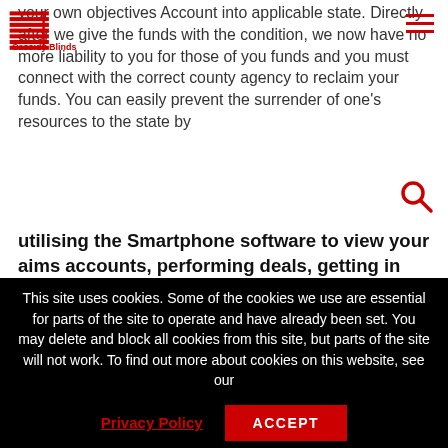Cassidy Blinds
your own objectives Account into applicable state. Directly after we give the funds with the condition, we now have no more liability to you for those of you funds and you must connect with the correct county agency to reclaim your funds. You can easily prevent the surrender of one's resources to the state by
utilising the Smartphone software to view your aims accounts, performing deals, getting in touch with united states concerning your targets membership or replying to any deserted house notices we would make available to your.
We could possibly in addition spot your targets levels in a sedentary position for those who have perhaps not had any
This site uses cookies. Some of the cookies we use are essential for parts of the site to operate and have already been set. You may delete and block all cookies from this site, but parts of the site will not work. To find out more about cookies on this website, see our
Privacy Policy
ACCEPT